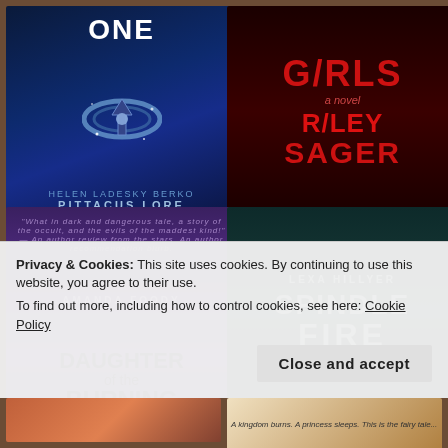[Figure (illustration): Book cover grid showing 4 book covers: top-left is a sci-fi cover by Pittacus Lore (dark blue with ring/crown), top-right is a thriller by Riley Sager with red text on dark background ('Girls / a novel / Riley Sager'), bottom-left is 'Daughter of the Burning' by Amanda Foody (purple background), bottom-right is 'Spindle Fire' by Lexa Hillyer (dark teal). Below the grid, partial covers of two more books are visible.]
Privacy & Cookies: This site uses cookies. By continuing to use this website, you agree to their use.
To find out more, including how to control cookies, see here: Cookie Policy
Close and accept